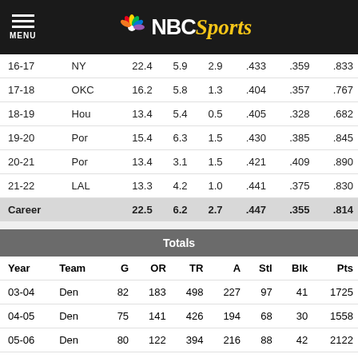NBC Sports
| Year | Team | PPG | RPG | APG | FG% | 3P% | FT% |
| --- | --- | --- | --- | --- | --- | --- | --- |
| 16-17 | NY | 22.4 | 5.9 | 2.9 | .433 | .359 | .833 |
| 17-18 | OKC | 16.2 | 5.8 | 1.3 | .404 | .357 | .767 |
| 18-19 | Hou | 13.4 | 5.4 | 0.5 | .405 | .328 | .682 |
| 19-20 | Por | 15.4 | 6.3 | 1.5 | .430 | .385 | .845 |
| 20-21 | Por | 13.4 | 3.1 | 1.5 | .421 | .409 | .890 |
| 21-22 | LAL | 13.3 | 4.2 | 1.0 | .441 | .375 | .830 |
| Career |  | 22.5 | 6.2 | 2.7 | .447 | .355 | .814 |
Totals
| Year | Team | G | OR | TR | A | Stl | Blk | Pts |
| --- | --- | --- | --- | --- | --- | --- | --- | --- |
| 03-04 | Den | 82 | 183 | 498 | 227 | 97 | 41 | 1725 |
| 04-05 | Den | 75 | 141 | 426 | 194 | 68 | 30 | 1558 |
| 05-06 | Den | 80 | 122 | 394 | 216 | 88 | 42 | 2122 |
| 06-07 | Den | 65 | 143 | 391 | 249 | 77 | 23 | 1881 |
| 07-08 | Den | 77 | 178 | 571 | 259 | 98 | 39 | 1978 |